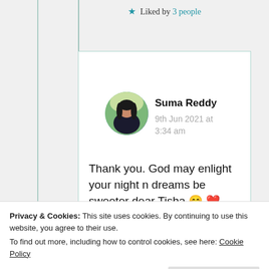★ Liked by 3 people
[Figure (photo): Circular avatar photo of Suma Reddy, a woman with dark hair]
Suma Reddy
9th Jun 2021 at 3:34 am
Thank you. God may enlight your night n dreams be sweeter dear Tisha 😊 ❤
Privacy & Cookies: This site uses cookies. By continuing to use this website, you agree to their use.
To find out more, including how to control cookies, see here: Cookie Policy
Close and accept